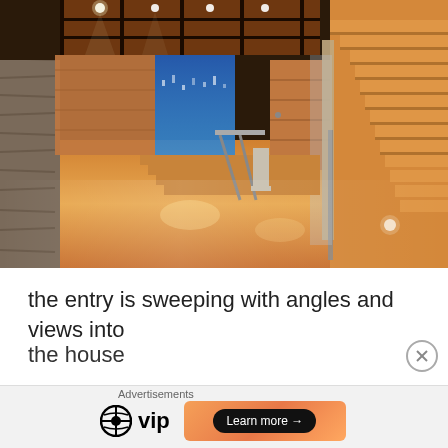[Figure (photo): Interior architectural photo of a modern home entry/foyer featuring warm wooden stairs with glass and metal railing on the right, wood-paneled walls and ceiling, recessed track lighting, stone wall on the left, hardwood floors, and a view through to a blue-lit exterior window in the background.]
the entry is sweeping with angles and views into the house
Advertisements
[Figure (logo): WordPress VIP logo with circular WordPress icon and bold 'vip' text, followed by an advertisement banner with orange gradient background and a 'Learn more →' button in a dark pill shape.]